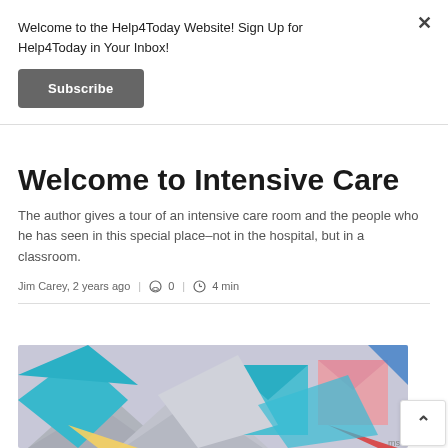Welcome to the Help4Today Website! Sign Up for Help4Today in Your Inbox!
Subscribe
Welcome to Intensive Care
The author gives a tour of an intensive care room and the people who he has seen in this special place–not in the hospital, but in a classroom.
Jim Carey, 2 years ago | 0 | 4 min
[Figure (photo): Colorful envelopes scattered together — teal, gray, pink, red, yellow origami-style paper envelopes]